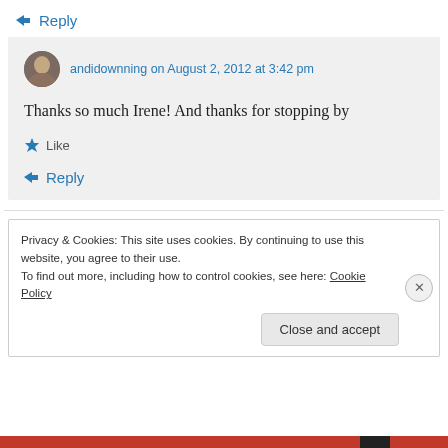↳ Reply
andidownning on August 2, 2012 at 3:42 pm
Thanks so much Irene! And thanks for stopping by
★ Like
↳ Reply
Privacy & Cookies: This site uses cookies. By continuing to use this website, you agree to their use. To find out more, including how to control cookies, see here: Cookie Policy
Close and accept